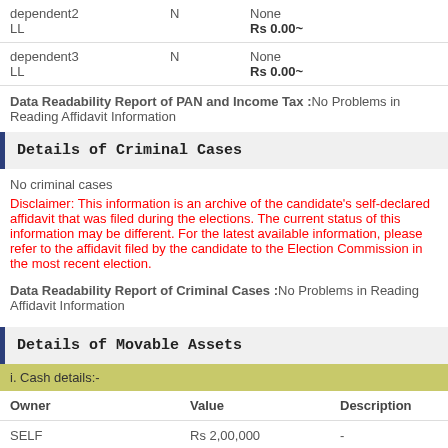| Owner | N | Type | Value |
| --- | --- | --- | --- |
| dependent2
LL | N | None | Rs 0.00~ |
| dependent3
LL | N | None | Rs 0.00~ |
Data Readability Report of PAN and Income Tax :No Problems in Reading Affidavit Information
Details of Criminal Cases
No criminal cases
Disclaimer: This information is an archive of the candidate's self-declared affidavit that was filed during the elections. The current status of this information may be different. For the latest available information, please refer to the affidavit filed by the candidate to the Election Commission in the most recent election.
Data Readability Report of Criminal Cases :No Problems in Reading Affidavit Information
Details of Movable Assets
i. Cash details:-
| Owner | Value | Description |
| --- | --- | --- |
| SELF | Rs 2,00,000 | - |